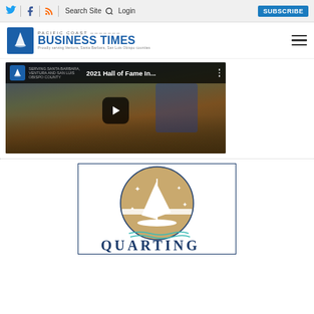Twitter | Facebook | RSS | Search Site | Login | SUBSCRIBE
[Figure (logo): Pacific Coast Business Times logo with sailboat icon]
[Figure (screenshot): YouTube video thumbnail: 2021 Hall of Fame In... with crowd in sports arena, play button overlay]
[Figure (logo): Quartino sailboat logo inside dark blue border box with teal wave lines and partial QUARTINO text]